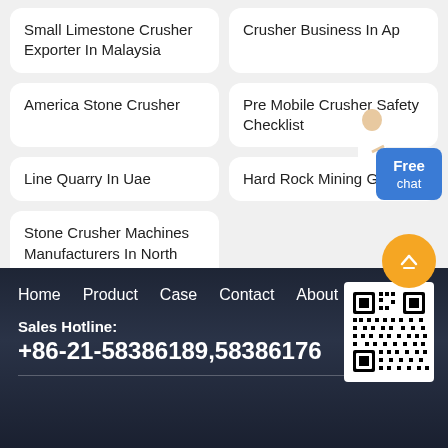Small Limestone Crusher Exporter In Malaysia
Crusher Business In Ap
America Stone Crusher
Pre Mobile Crusher Safety Checklist
Line Quarry In Uae
Hard Rock Mining Ghana
Stone Crusher Machines Manufacturers In North America
Free chat
Home   Product   Case   Contact   About
Sales Hotline:
+86-21-58386189,58386176
[Figure (other): QR code for website or contact]